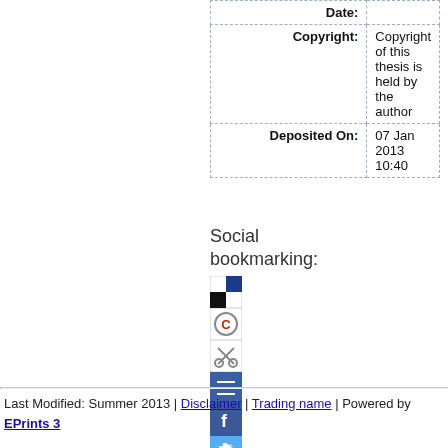| Label | Value |
| --- | --- |
| Date: |  |
| Copyright: | Copyright of this thesis is held by the author |
| Deposited On: | 07 Jan 2013 10:40 |
Social bookmarking:
[Figure (other): Social bookmarking icons: BibSonomy, CiteULike, Mendeley, Connotea, Facebook, Twitter]
Last Modified: Summer 2013 | Disclaimer | Trading name | Powered by EPrints 3